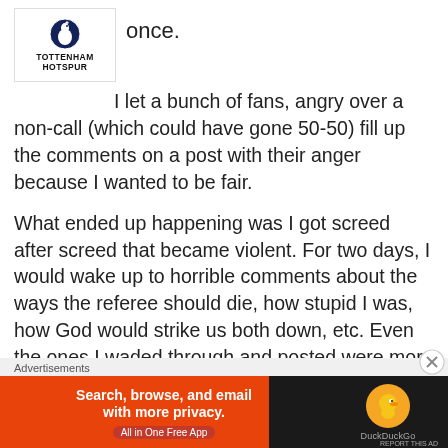[Figure (logo): Tottenham Hotspur club crest logo with cockerel icon and text 'TOTTENHAM HOTSPUR']
once.
I let a bunch of fans, angry over a non-call (which could have gone 50-50) fill up the comments on a post with their anger because I wanted to be fair.
What ended up happening was I got screed after screed that became violent. For two days, I would wake up to horrible comments about the ways the referee should die, how stupid I was, how God would strike us both down, etc. Even the ones I waded through and posted were more referee-bashing than I prefer on my site, but
Advertisements
[Figure (screenshot): DuckDuckGo advertisement banner: orange background left side with text 'Search, browse, and email with more privacy. All in One Free App', dark right side with DuckDuckGo logo circle and DuckDuckGo text]